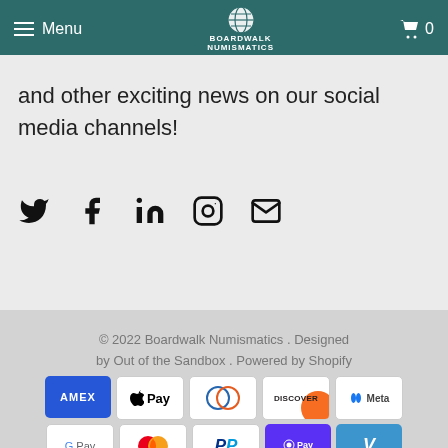Menu | Boardwalk Numismatics | Cart 0
been in touch where we are, new coins and other exciting news on our social media channels!
[Figure (infographic): Social media icons: Twitter, Facebook, LinkedIn, Instagram, Email]
© 2022 Boardwalk Numismatics . Designed by Out of the Sandbox . Powered by Shopify
[Figure (infographic): Payment method icons: AMEX, Apple Pay, Diners Club, Discover, Meta Pay, Google Pay, Mastercard, PayPal, Shop Pay, Venmo, Visa]